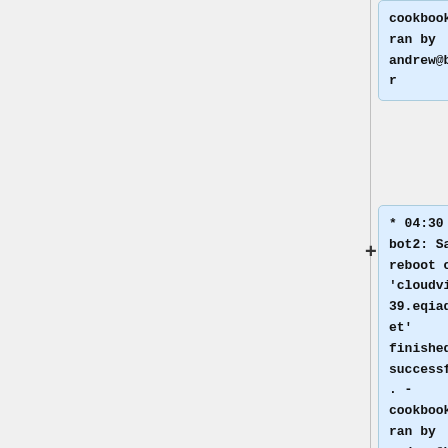cookbook ran by andrew@buster
* 04:30 wm-bot2: Safe reboot of 'cloudvirt1039.eqiad.wmnet' finished successfully. - cookbook ran by andrew@buster
* 04:30 wm-bot2: Unset cloudvirt 'cloudvirt10